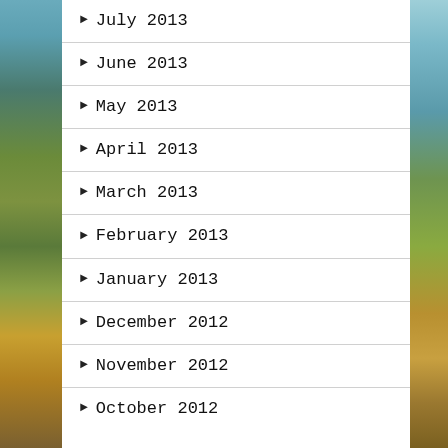July 2013
June 2013
May 2013
April 2013
March 2013
February 2013
January 2013
December 2012
November 2012
October 2012